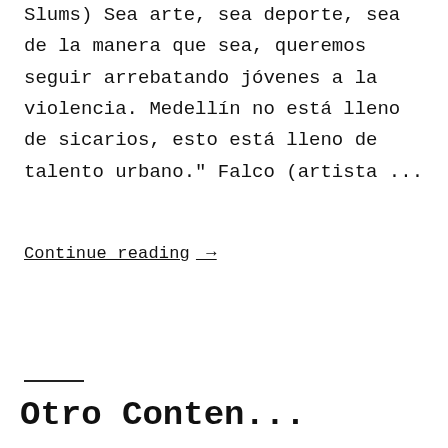Slums) Sea arte, sea deporte, sea de la manera que sea, queremos seguir arrebatando jóvenes a la violencia. Medellín no está lleno de sicarios, esto está lleno de talento urbano." Falco (artista ...
Continue reading →
Otro Contenido...